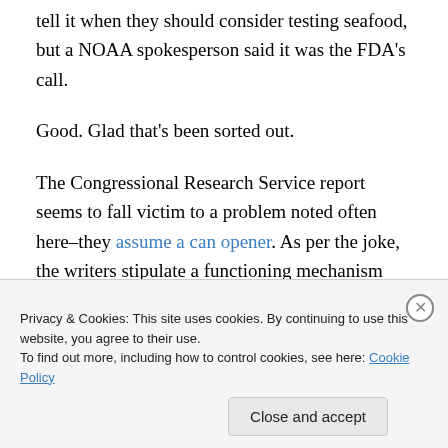tell it when they should consider testing seafood, but a NOAA spokesperson said it was the FDA's call.
Good. Glad that's been sorted out.
The Congressional Research Service report seems to fall victim to a problem noted often here–they assume a can opener. As per the joke, the writers stipulate a functioning mechanism before explaining their solution. As many nuclear industry-watchers assume a functioning regulatory process (as opposed to a captured Nuclear Regulatory Commission or a less-than-friendly Department of E…
Privacy & Cookies: This site uses cookies. By continuing to use this website, you agree to their use.
To find out more, including how to control cookies, see here: Cookie Policy